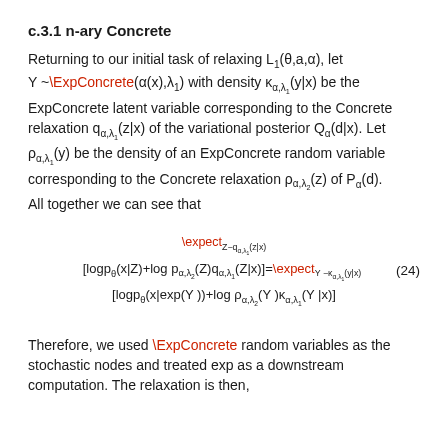c.3.1 n-ary Concrete
Returning to our initial task of relaxing L1(θ,a,α), let Y ~\ExpConcrete(α(x),λ1) with density κ_{α,λ1}(y|x) be the ExpConcrete latent variable corresponding to the Concrete relaxation q_{α,λ1}(z|x) of the variational posterior Q_α(d|x). Let ρ_{α,λ1}(y) be the density of an ExpConcrete random variable corresponding to the Concrete relaxation ρ_{α,λ2}(z) of P_α(d). All together we can see that
Therefore, we used \ExpConcrete random variables as the stochastic nodes and treated exp as a downstream computation. The relaxation is then,